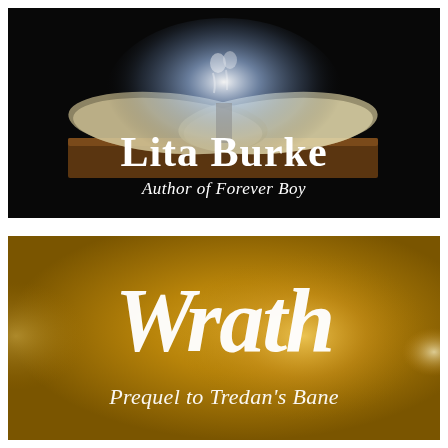[Figure (illustration): Black background banner with an open glowing book on a wooden desk emitting magical white light, with author name 'Lita Burke' in large white serif text and subtitle 'Author of Forever Boy' in italic white serif text beneath.]
[Figure (illustration): Golden/amber background banner with book title 'Wrath' in large ornate white script calligraphy and subtitle 'Prequel to Tredan's Bane' in elegant white script below.]